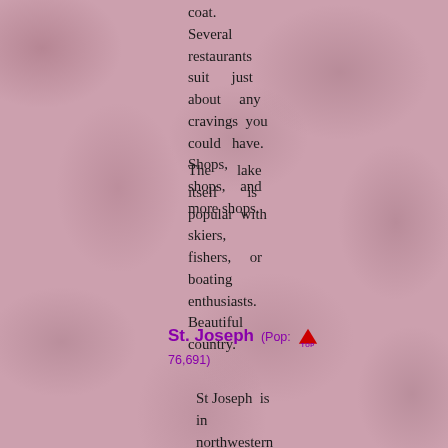coat. Several restaurants suit just about any cravings you could have. Shops, shops, and more shops.
The lake itself is popular with skiers, fishers, or boating enthusiasts. Beautiful country.
St. Joseph (Pop: 76,691)
St Joseph is in northwestern Missouri. St. Jo has a lot of history.